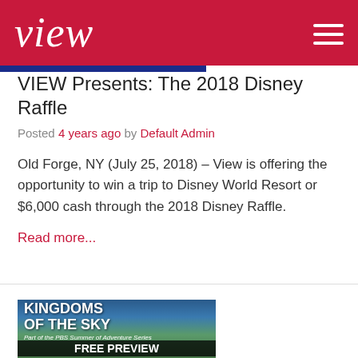view
VIEW Presents: The 2018 Disney Raffle
Posted 4 years ago by Default Admin
Old Forge, NY (July 25, 2018) – View is offering the opportunity to win a trip to Disney World Resort or $6,000 cash through the 2018 Disney Raffle.
Read more...
[Figure (illustration): Kingdoms of the Sky promotional image - PBS Summer of Adventure Series Free Preview banner]